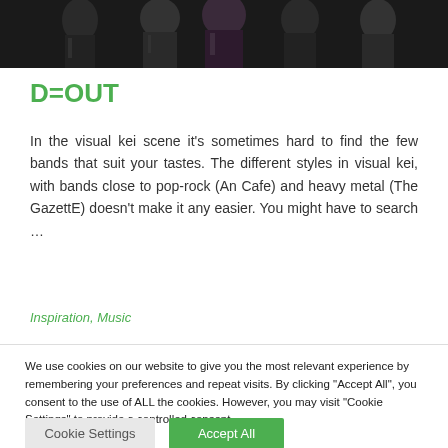[Figure (photo): Group of people in dark/black outfits, likely visual kei band members, photo cropped at top of page]
D=OUT
In the visual kei scene it's sometimes hard to find the few bands that suit your tastes. The different styles in visual kei, with bands close to pop-rock (An Cafe) and heavy metal (The GazettE) doesn't make it any easier. You might have to search …
Inspiration, Music
We use cookies on our website to give you the most relevant experience by remembering your preferences and repeat visits. By clicking "Accept All", you consent to the use of ALL the cookies. However, you may visit "Cookie Settings" to provide a controlled consent.